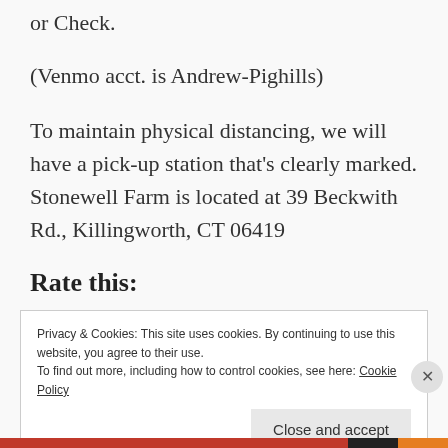or Check.
(Venmo acct. is Andrew-Pighills)
To maintain physical distancing, we will have a pick-up station that’s clearly marked. Stonewell Farm is located at 39 Beckwith Rd., Killingworth, CT 06419
Rate this:
Privacy & Cookies: This site uses cookies. By continuing to use this website, you agree to their use.
To find out more, including how to control cookies, see here: Cookie Policy
Close and accept